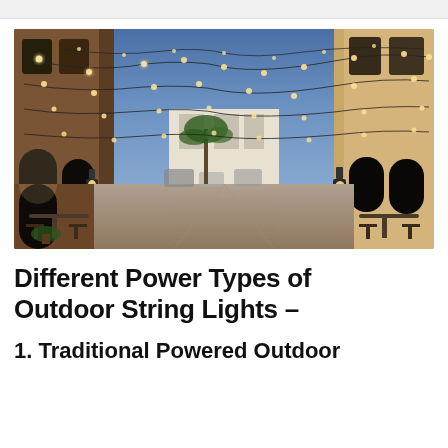[Figure (photo): Outdoor courtyard alley between two multi-story brick and stone buildings at dusk/night with string lights strung overhead in a canopy pattern. Cafe tables and chairs below, arched windows and wall-mounted lanterns on the buildings, blue evening sky visible.]
Different Power Types of Outdoor String Lights –
1. Traditional Powered Outdoor